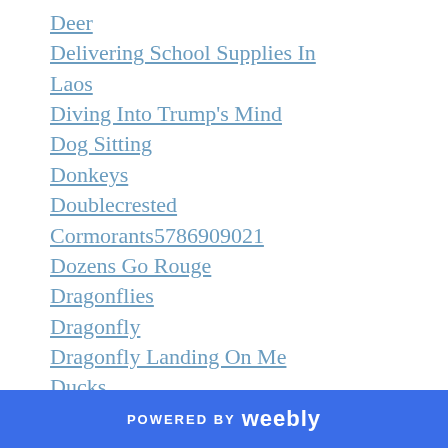Deer
Delivering School Supplies In Laos
Diving Into Trump's Mind
Dog Sitting
Donkeys
Doublecrested Cormorants5786909021
Dozens Go Rouge
Dragonflies
Dragonfly
Dragonfly Landing On Me
Ducks
Ducks And Geese
Each Person By Pablo Casals3424aeb19f
Earth Stars
POWERED BY weebly